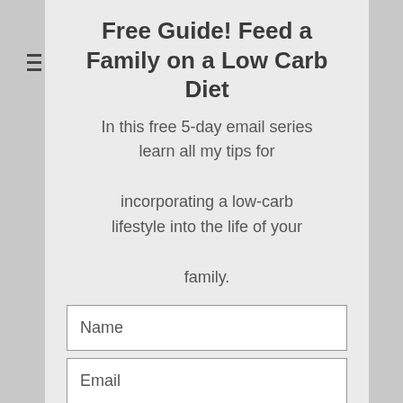Free Guide! Feed a Family on a Low Carb Diet
In this free 5-day email series learn all my tips for incorporating a low-carb lifestyle into the life of your family.
Name
Email
YES, I WANT IT!
By subscribing to our newsletter...